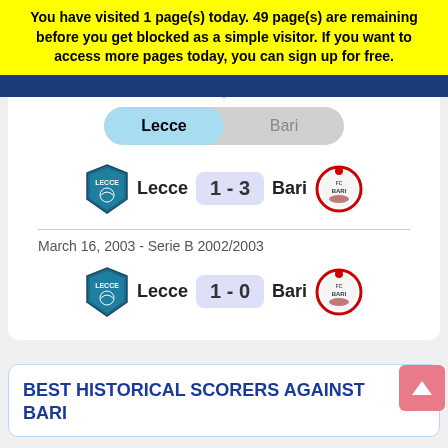You have visited 1 page(s) today. 49 page(s) are remaining before you get blocked as a simple visitor. If you want to access more pages today, you can sign up for free.
[Figure (screenshot): Toggle switch with 'Lecce' selected (blue/highlighted) and 'Bari' unselected (gray)]
[Figure (infographic): Match result: Lecce 1-3 Bari, showing both team logos/badges]
March 16, 2003 - Serie B 2002/2003
[Figure (infographic): Match result: Lecce 1-0 Bari, showing both team logos/badges]
BEST HISTORICAL SCORERS AGAINST BARI